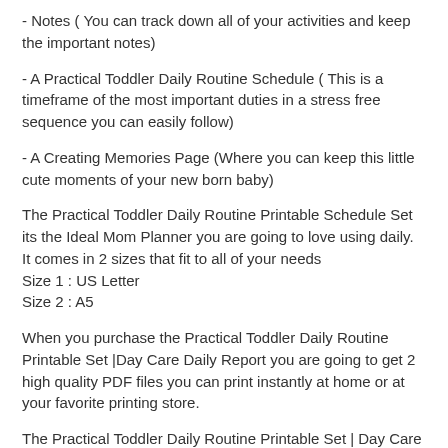- Notes ( You can track down all of your activities and keep the important notes)
- A Practical Toddler Daily Routine Schedule ( This is a timeframe of the most important duties in a stress free sequence you can easily follow)
- A Creating Memories Page (Where you can keep this little cute moments of your new born baby)
The Practical Toddler Daily Routine Printable Schedule Set its the Ideal Mom Planner you are going to love using daily. It comes in 2 sizes that fit to all of your needs Size 1 : US Letter Size 2 : A5
When you purchase the Practical Toddler Daily Routine Printable Set |Day Care Daily Report you are going to get 2 high quality PDF files you can print instantly at home or at your favorite printing store.
The Practical Toddler Daily Routine Printable Set | Day Care Daily Report it's an Ideal Gift for Baby Showers and Pregnancy announcements.